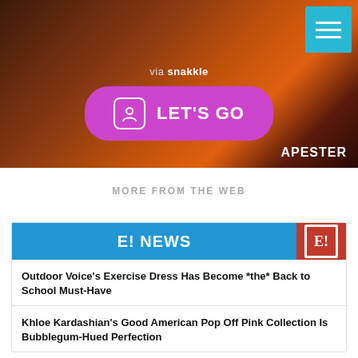[Figure (screenshot): Hero image with dark brownish-red blurred background showing people, with 'via snakkle' text, a magenta 'LET'S GO' button with person icon, a hamburger menu button in cyan top-right, and APESTER watermark bottom-right.]
MORE FROM THE WEB
[Figure (screenshot): E! NEWS branded card with blue bar showing 'E! NEWS' and red box with E logo. Contains two news article headlines.]
Outdoor Voice's Exercise Dress Has Become *the* Back to School Must-Have
Khloe Kardashian's Good American Pop Off Pink Collection Is Bubblegum-Hued Perfection